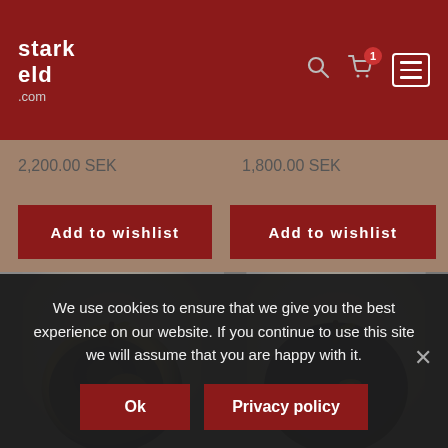starkeld.com
2,200.00 SEK
1,800.00 SEK
Add to wishlist
Add to wishlist
[Figure (photo): Dark glazed ceramic apple with gold accent, left side]
[Figure (photo): Dark glazed ceramic apple with gold accent, right side]
We use cookies to ensure that we give you the best experience on our website. If you continue to use this site we will assume that you are happy with it.
Ok
Privacy policy